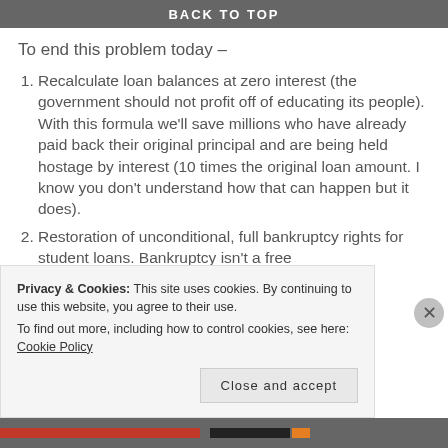BACK TO TOP
To end this problem today –
Recalculate loan balances at zero interest (the government should not profit off of educating its people). With this formula we'll save millions who have already paid back their original principal and are being held hostage by interest (10 times the original loan amount. I know you don't understand how that can happen but it does).
Restoration of unconditional, full bankruptcy rights for student loans. Bankruptcy isn't a free
Privacy & Cookies: This site uses cookies. By continuing to use this website, you agree to their use.
To find out more, including how to control cookies, see here: Cookie Policy
Close and accept